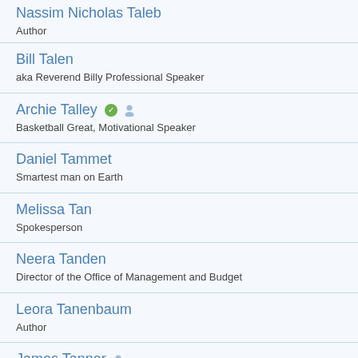Nassim Nicholas Taleb
Author
Bill Talen
aka Reverend Billy Professional Speaker
Archie Talley
Basketball Great, Motivational Speaker
Daniel Tammet
Smartest man on Earth
Melissa Tan
Spokesperson
Neera Tanden
Director of the Office of Management and Budget
Leora Tanenbaum
Author
James Tanner
Celebrity Chef
Andrea Tantaros
Political Analyst & Commentator, featured on Fox News' The Five